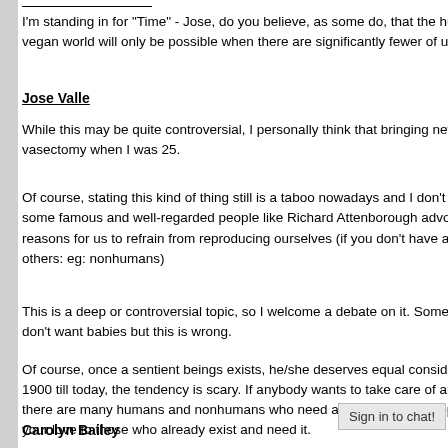I'm standing in for "Time" - Jose, do you believe, as some do, that the huma... vegan world will only be possible when there are significantly fewer of us o...
Jose Valle
While this may be quite controversial, I personally think that bringing new be... vasectomy when I was 25.
Of course, stating this kind of thing still is a taboo nowadays and I don't thin... some famous and well-regarded people like Richard Attenborough advocate... reasons for us to refrain from reproducing ourselves (if you don't have a bab... others: eg: nonhumans)
This is a deep or controversial topic, so I welcome a debate on it. Sometime... don't want babies but this is wrong.
Of course, once a sentient beings exists, he/she deserves equal considerat... 1900 till today, the tendency is scary. If anybody wants to take care of anoth... there are many humans and nonhumans who need a home, I have adopted... your love to those who already exist and need it.
Carolyn Bailey
Sign in to chat!